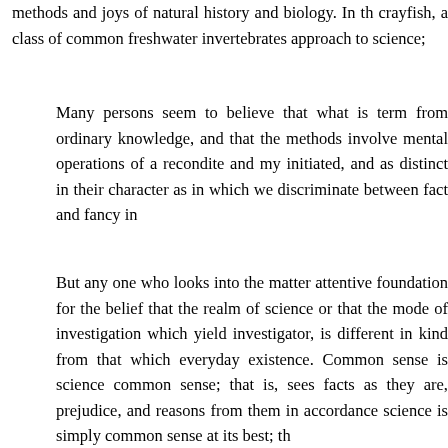methods and joys of natural history and biology. In th crayfish, a class of common freshwater invertebrates approach to science;
Many persons seem to believe that what is term from ordinary knowledge, and that the methods involve mental operations of a recondite and my initiated, and as distinct in their character as in which we discriminate between fact and fancy in
But any one who looks into the matter attentive foundation for the belief that the realm of science or that the mode of investigation which yield investigator, is different in kind from that which everyday existence. Common sense is science common sense; that is, sees facts as they are, prejudice, and reasons from them in accordance science is simply common sense at its best; th